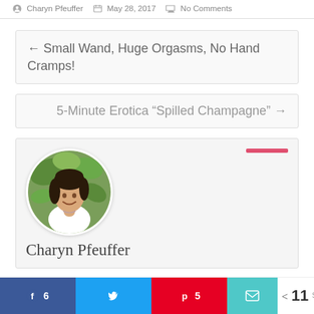Charyn Pfeuffer  May 28, 2017  No Comments
← Small Wand, Huge Orgasms, No Hand Cramps!
5-Minute Erotica “Spilled Champagne” →
[Figure (photo): Circular headshot of Charyn Pfeuffer, a woman with dark hair smiling, in front of green foliage background]
Charyn Pfeuffer
6  [Facebook share]  [Twitter share]  5  [Pinterest share]  [Email share]  < 11 SHARES